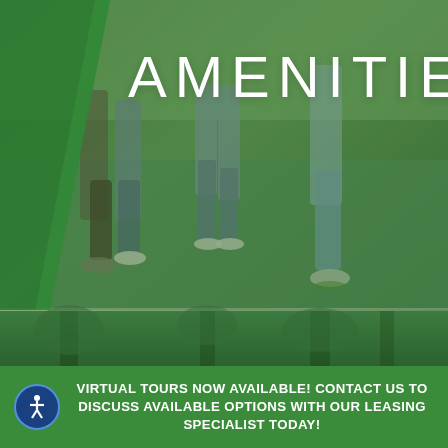[Figure (photo): Full-bleed photo of people walking on grass, with green color overlay, split into two sections — upper showing legs/feet of walkers on a grassy path, lower showing trees and greenery. A green diagonal chevron/ribbon overlays the upper left. The image has a strong green tint throughout.]
AMENITIES
VIRTUAL TOURS NOW AVAILABLE! CONTACT US TO DISCUSS AVAILABLE OPTIONS WITH OUR LEASING SPECIALIST TODAY!